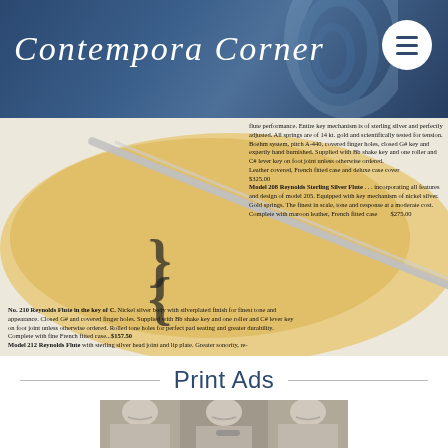Contempora Corner
[Figure (photo): Vintage catalog page showing a flute (Reynolds Flute model 210, 212, 208) with orange/tan blob background. Text describes nickel silver body with silverplated finish. No. 210 Reynolds Flute in the key of C. Nickel silver body with silverplated finish for finest tone and appearance. Closed G# and covered finger holes. Supplied with Bb shake key and one roller and C# lever key on foot joint unless otherwise ordered. Rolled tone holes for perfect pad seating and greater durability. Complete with fine French fitted case...$157.50. Model 212 Reynolds Flute with sterling silver head joint and lip plate. Greater sonority, re- [cut off] flute performance. Entire key mechanism is of sterling silver and perfectly adjusted. All springs are of 14 kt. gold and scientifically tested for tension. Boehm system, pitch A-440, covered finger holes, closed G# key and expertly hand burnished. Supplied with Bb shake key and one roller and C# lever key on foot joint unless otherwise ordered. Leather covered, French fitted case and deluxe case cover $325.00. Model 208 Reynolds Sterling Silver Flute...incorporating all features and design of model 205. Equipped with key mechanism of nickel silver. Gold springs. The finest in scale, tone and response at a moderate cost. Complete with maroon leather, French fitted case $275.00]
Print Ads
[Figure (photo): Black and white vintage print advertisement showing three women smiling, one holding a trumpet in the center]